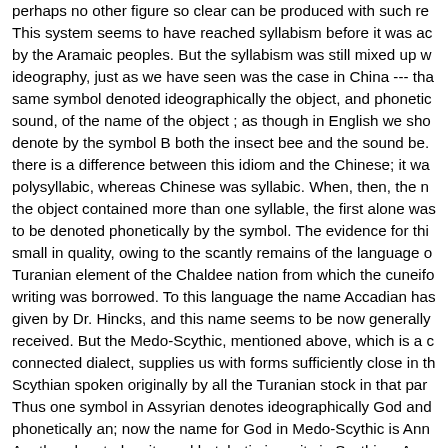perhaps no other figure so clear can be produced with such r... This system seems to have reached syllabism before it was adopted by the Aramaic peoples. But the syllabism was still mixed up with ideography, just as we have seen was the case in China --- that the same symbol denoted ideographically the object, and phonetically the sound, of the name of the object ; as though in English we should denote by the symbol B both the insect bee and the sound be. But there is a difference between this idiom and the Chinese; it was polysyllabic, whereas Chinese was syllabic. When, then, the name of the object contained more than one syllable, the first alone was used to be denoted phonetically by the symbol. The evidence for this is small in quality, owing to the scantly remains of the language of the Turanian element of the Chaldee nation from which the cuneiform writing was borrowed. To this language the name Accadian has been given by Dr. Hincks, and this name seems to be now generally received. But the Medo-Scythic, mentioned above, which is a closely connected dialect, supplies us with forms sufficiently close in the Scythian spoken originally by all the Turanian stock in that part. Thus one symbol in Assyrian denotes ideographically God and phonetically an; now the name for God in Medo-Scythic is Annu. Another denoted a city and but; batin is a city in Scythian. Another denoted is a father is atta. (Oppert, ii.79; Lenormant, i. 41.) This evidence will doubtless be strengthened with time, but even now is conclusive; and the principle thus established, the arbitrary selection of the first part of a name to have a particular phonetic value.